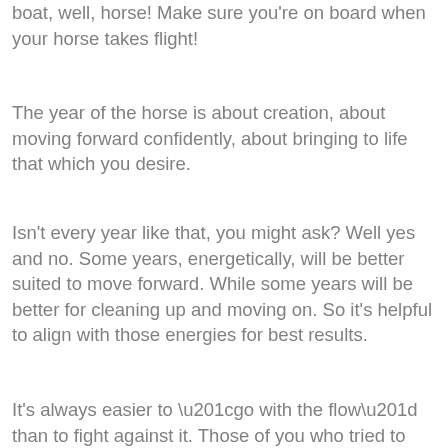boat, well, horse! Make sure you're on board when your horse takes flight!
The year of the horse is about creation, about moving forward confidently, about bringing to life that which you desire.
Isn't every year like that, you might ask? Well yes and no. Some years, energetically, will be better suited to move forward. While some years will be better for cleaning up and moving on. So it's helpful to align with those energies for best results.
It's always easier to “go with the flow” than to fight against it. Those of you who tried to create massive, rapid growth last year might have felt this? You might have felt like everything took forever to happen, like no matter which way you turned, there was something else to fix, to solve, to learn from. Well,